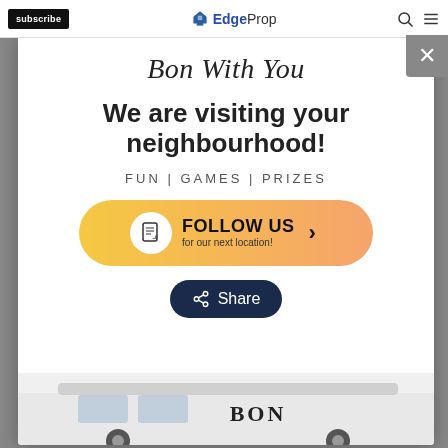subscribe | EdgeProp
Bon With You
We are visiting your neighbourhood!
FUN | GAMES | PRIZES
[Figure (infographic): Orange gradient pill-shaped button with document icon, bold text FOLLOW US with arrow, subtext 'for our next location!']
[Figure (infographic): Dark navy oval Share button with share icon]
[Figure (photo): Bottom portion of a white van with BON branding visible at bottom of modal]